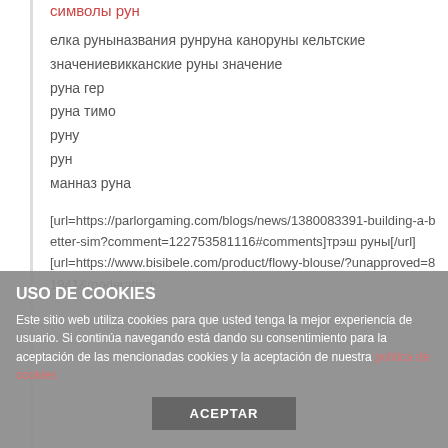символы рун
елка руныназвания рунруна каноруны кельтские значениевикканские руны значение
руна гер
руна тимо
руну
рун
манназ руна
[url=https://parlorgaming.com/blogs/news/1380083391-building-a-better-sim?comment=122753581116#comments]трэш руны[/url]
[url=https://www.bisibele.com/product/flowy-blouse/?unapproved=81941&moderation-
USO DE COOKIES
Este sitio web utiliza cookies para que usted tenga la mejor experiencia de usuario. Si continúa navegando está dando su consentimiento para la aceptación de las mencionadas cookies y la aceptación de nuestra política de cookies
ACEPTAR